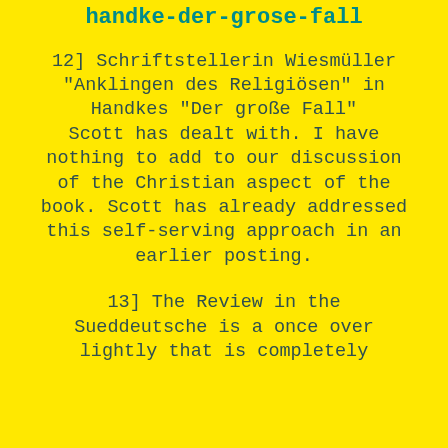handke-der-grose-fall
12] Schriftstellerin Wiesmüller "Anklingen des Religiösen" in Handkes "Der große Fall" Scott has dealt with. I have nothing to add to our discussion of the Christian aspect of the book. Scott has already addressed this self-serving approach in an earlier posting.
13] The Review in the Sueddeutsche is a once over lightly that is completely